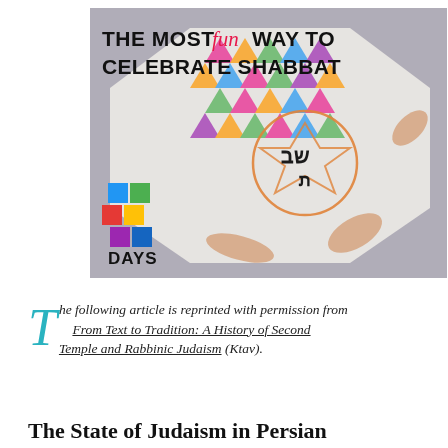[Figure (photo): Photo of a Shabbat craft/embroidery kit with a Star of David pattern on fabric, colorful thread squares, hands holding the embroidery hoop. Text overlay reads 'THE MOST fun WAY TO CELEBRATE SHABBAT' and 'DAYS' at the bottom left.]
The following article is reprinted with permission from From Text to Tradition: A History of Second Temple and Rabbinic Judaism (Ktav).
The State of Judaism in Persian